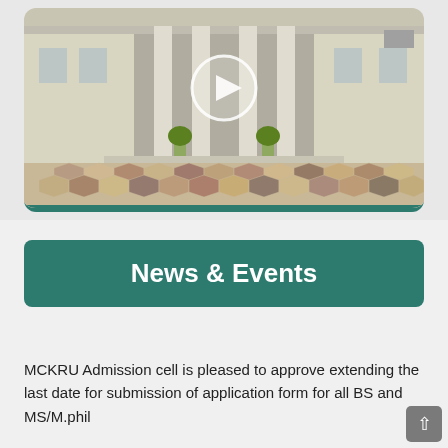[Figure (photo): A university or institution building with white columns, arched entrance, and hexagonal patterned stone pathway in the foreground. A video play button overlay is shown in the center.]
News & Events
MCKRU Admission cell is pleased to approve extending the last date for submission of application form for all BS and MS/M.phil